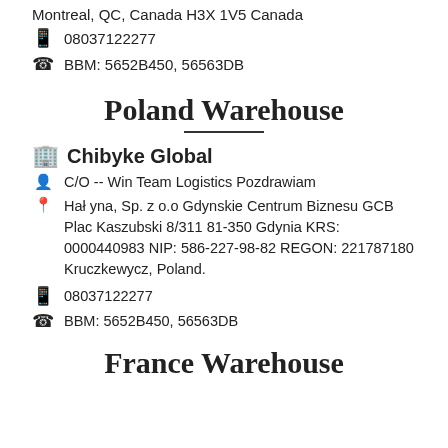Montreal, QC, Canada H3X 1V5 Canada
📱  08037122277
☎  BBM: 5652B450, 56563DB
Poland Warehouse
🏢 Chibyke Global
👤  C/O -- Win Team Logistics Pozdrawiam
📍  Hałyna, Sp. z o.o Gdynskie Centrum Biznesu GCB Plac Kaszubski 8/311 81-350 Gdynia KRS: 0000440983 NIP: 586-227-98-82 REGON: 221787180 Kruczkewycz, Poland.
📱  08037122277
☎  BBM: 5652B450, 56563DB
France Warehouse